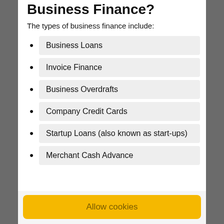Business Finance?
The types of business finance include:
Business Loans
Invoice Finance
Business Overdrafts
Company Credit Cards
Startup Loans (also known as start-ups)
Merchant Cash Advance
Allow cookies